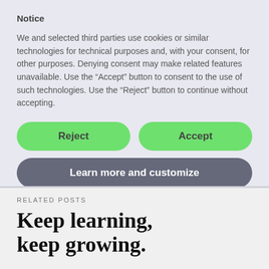Notice
We and selected third parties use cookies or similar technologies for technical purposes and, with your consent, for other purposes. Denying consent may make related features unavailable. Use the “Accept” button to consent to the use of such technologies. Use the “Reject” button to continue without accepting.
[Figure (other): Two green pill-shaped buttons labeled 'Reject' and 'Accept' side by side, and a gray pill-shaped button below labeled 'Learn more and customize']
RELATED POSTS
Keep learning, keep growing.